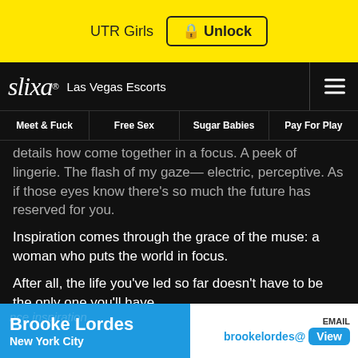[Figure (screenshot): Yellow ad banner with 'UTR Girls' text and an 'Unlock' button with lock icon]
slixa® Las Vegas Escorts
Meet & Fuck | Free Sex | Sugar Babies | Pay For Play
details how come together in a focus. A peek of lingerie. The flash of my gaze— electric, perceptive. As if those eyes know there's so much the future has reserved for you.
Inspiration comes through the grace of the muse: a woman who puts the world in focus.
After all, the life you've led so far doesn't have to be the only one you'll have.
Surely, the only thing worse than not realizing your dreams is to have never dreamt at all.
Brooke Lordes New York City brookelordes@ View EMAIL